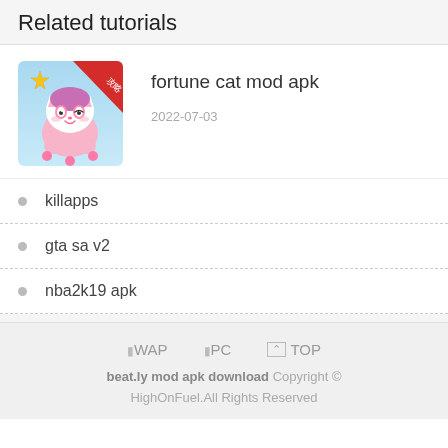Related tutorials
[Figure (illustration): App icon for a mobile game featuring a cute cartoon cat character with a star, pink hair, and colorful background with Chinese characters on a red banner]
fortune cat mod apk
2022-07-03
killapps
gta sa v2
nba2k19 apk
ⅠWAP   ⅠPC   ∧ TOP
beat.ly mod apk download Copyright © HighOnFuel.All Rights Reserved